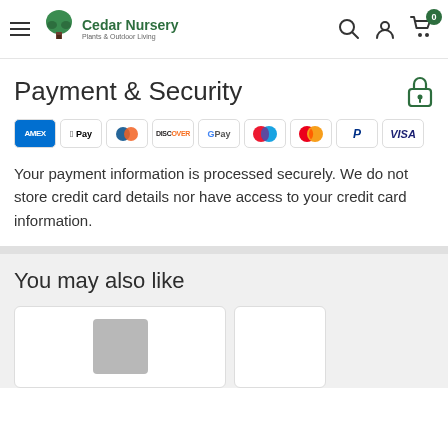Cedar Nursery — Plants & Outdoor Living
Payment & Security
[Figure (other): Row of payment method icons: American Express, Apple Pay, Diners Club, Discover, Google Pay, Maestro, Mastercard, PayPal, Visa]
Your payment information is processed securely. We do not store credit card details nor have access to your credit card information.
You may also like
[Figure (other): Product card thumbnails — partially visible at page bottom]